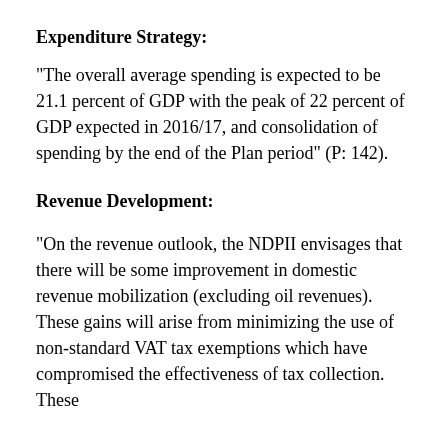Expenditure Strategy:
“The overall average spending is expected to be 21.1 percent of GDP with the peak of 22 percent of GDP expected in 2016/17, and consolidation of spending by the end of the Plan period” (P: 142).
Revenue Development:
“On the revenue outlook, the NDPII envisages that there will be some improvement in domestic revenue mobilization (excluding oil revenues). These gains will arise from minimizing the use of non-standard VAT tax exemptions which have compromised the effectiveness of tax collection. These